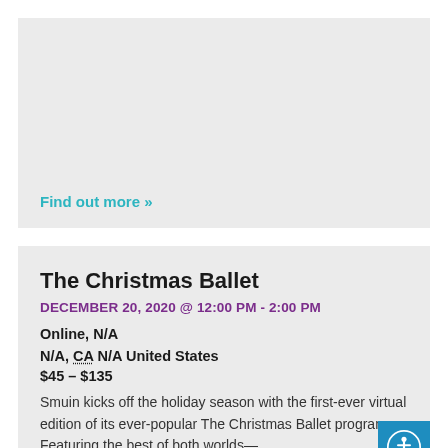[Figure (other): Gray placeholder image area at the top of the page]
Find out more »
The Christmas Ballet
DECEMBER 20, 2020 @ 12:00 PM - 2:00 PM
Online, N/A
N/A, CA N/A United States
$45 – $135
Smuin kicks off the holiday season with the first-ever virtual edition of its ever-popular The Christmas Ballet program. Featuring the best of both worlds—...